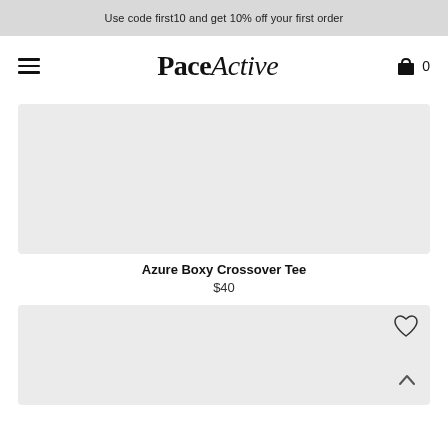Use code first10 and get 10% off your first order
PaceActive
0
[Figure (photo): Gray placeholder product image for Azure Boxy Crossover Tee]
Azure Boxy Crossover Tee
$40
[Figure (photo): Gray placeholder product image for second product with heart icon and scroll-up arrow]